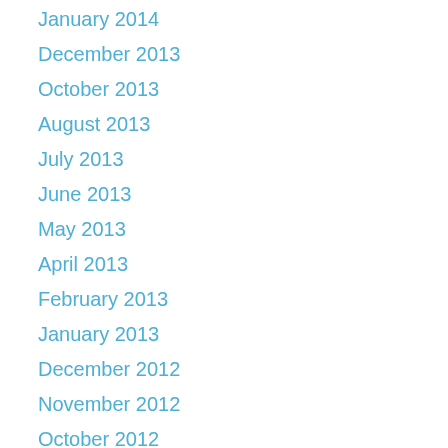January 2014
December 2013
October 2013
August 2013
July 2013
June 2013
May 2013
April 2013
February 2013
January 2013
December 2012
November 2012
October 2012
September 2012
August 2012
July 2012
June 2012
May 2012
April 2012
March 2012